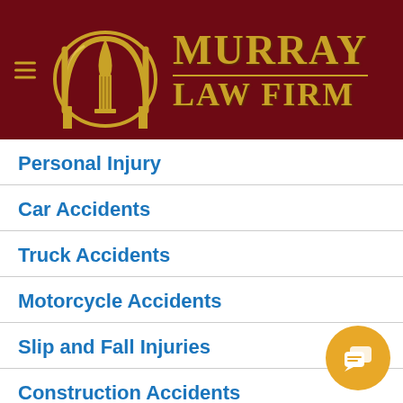[Figure (logo): Murray Law Firm logo with golden M emblem and firm name on dark red background]
Personal Injury
Car Accidents
Truck Accidents
Motorcycle Accidents
Slip and Fall Injuries
Construction Accidents
Bicycle Accidents
Bus Accidents